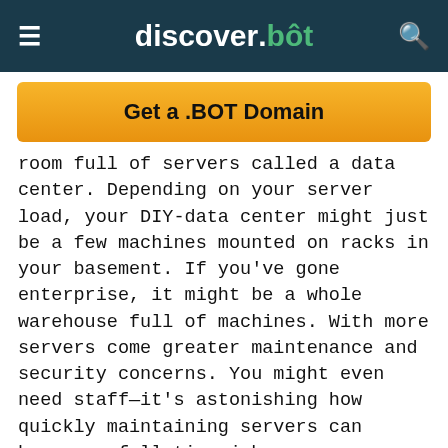discover.bot
[Figure (other): Orange CTA button reading 'Get a .BOT Domain']
room full of servers called a data center. Depending on your server load, your DIY-data center might just be a few machines mounted on racks in your basement. If you've gone enterprise, it might be a whole warehouse full of machines. With more servers come greater maintenance and security concerns. You might even need staff—it's astonishing how quickly maintaining servers can become a full-time job.
Hosting with physical servers also means you're paying for more hosting capacity than you need. Your data center or server network must be capable of handling the maximum server load to your website at any given time. If yours is like pretty much any other website, your traffic isn't consistent. It probably spikes during the day and decreases at